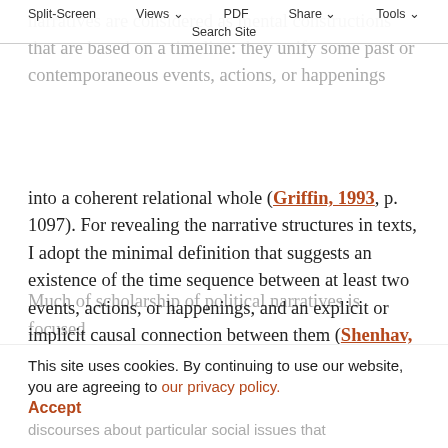Split-Screen  Views  PDF  Share  Tools  Search Site
narratives are considered as mental constructions that are based on a timeline: they unify some past or contemporaneous events, actions, or happenings into a coherent relational whole (Griffin, 1993, p. 1097). For revealing the narrative structures in texts, I adopt the minimal definition that suggests an existence of the time sequence between at least two events, actions, or happenings, and an explicit or implicit causal connection between them (Shenhav, 2006, pp. 247, 250–251; De Fina, 2017, p. 234).
Much of scholarship of political narratives is focused
This site uses cookies. By continuing to use our website, you are agreeing to our privacy policy. Accept
discourses about particular social issues that